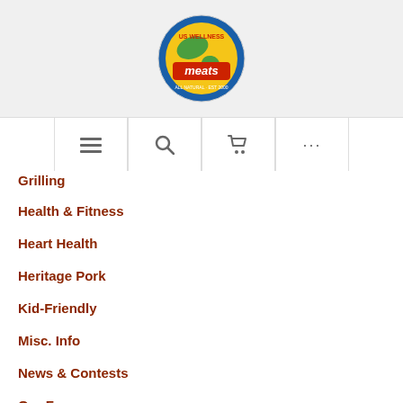[Figure (logo): US Wellness Meats circular logo with red, yellow, green and blue colors]
[Figure (screenshot): Navigation bar with hamburger menu, search, cart, and more icons]
Grilling
Health & Fitness
Heart Health
Heritage Pork
Kid-Friendly
Misc. Info
News & Contests
Our Farms
Paleo
Pet Care
Product Information
Recipes
Toxins